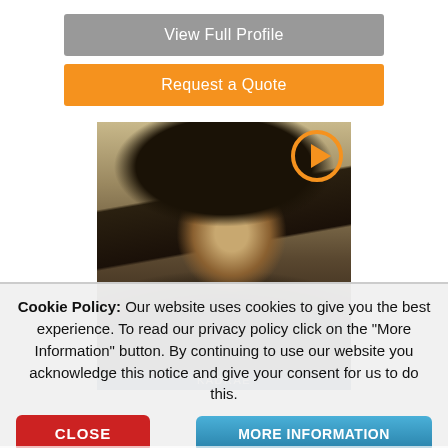View Full Profile
Request a Quote
[Figure (photo): Sepia-toned photo of a musician (Kadrae) holding a guitar neck up to their face, wearing a bowler hat, with an orange play button overlay in the top right corner]
KADRAE
Cookie Policy: Our website uses cookies to give you the best experience. To read our privacy policy click on the "More Information" button. By continuing to use our website you acknowledge this notice and give your consent for us to do this.
CLOSE
MORE INFORMATION
a solo artist, vocalist, musician,